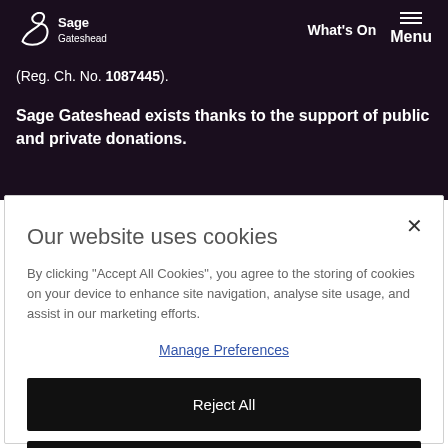[Figure (logo): Sage Gateshead logo — stylized S curve with 'Sage Gateshead' text]
What's On   Menu
(Reg. Ch. No. 1087445).
Sage Gateshead exists thanks to the support of public and private donations.
Our website uses cookies
By clicking "Accept All Cookies", you agree to the storing of cookies on your device to enhance site navigation, analyse site usage, and assist in our marketing efforts.
Manage Preferences
Reject All
Accept All Cookies